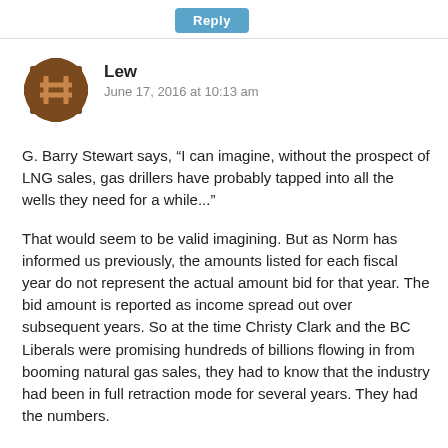[Figure (screenshot): Reply button, teal/blue rounded rectangle]
[Figure (illustration): User avatar: brown pixelated/hashtag-style icon]
Lew
June 17, 2016 at 10:13 am
G. Barry Stewart says, “I can imagine, without the prospect of LNG sales, gas drillers have probably tapped into all the wells they need for a while...”
That would seem to be valid imagining. But as Norm has informed us previously, the amounts listed for each fiscal year do not represent the actual amount bid for that year. The bid amount is reported as income spread out over subsequent years. So at the time Christy Clark and the BC Liberals were promising hundreds of billions flowing in from booming natural gas sales, they had to know that the industry had been in full retraction mode for several years. They had the numbers.
It appears then, that Christy Clark and the BC Liberals have some explaining to do about those promises. Were they borne of total incompetence? Or deliberate lies?